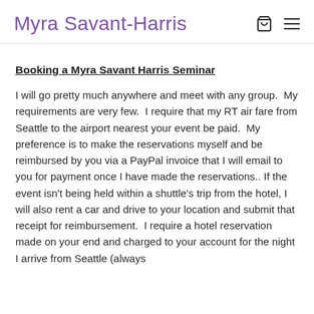Myra Savant-Harris
Booking a Myra Savant Harris Seminar
I will go pretty much anywhere and meet with any group.  My requirements are very few.  I require that my RT air fare from Seattle to the airport nearest your event be paid.  My preference is to make the reservations myself and be reimbursed by you via a PayPal invoice that I will email to you for payment once I have made the reservations.. If the event isn't being held within a shuttle's trip from the hotel, I will also rent a car and drive to your location and submit that receipt for reimbursement.  I require a hotel reservation made on your end and charged to your account for the night I arrive from Seattle (always